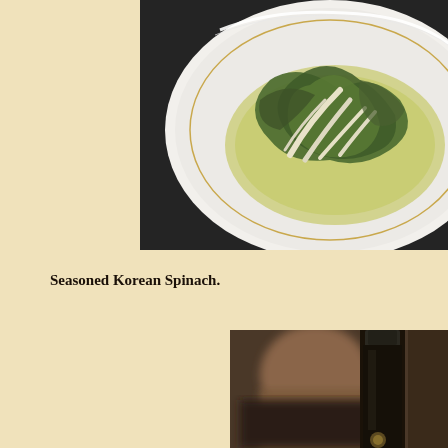[Figure (photo): A white plate containing seasoned Korean spinach (namul) with green wilted spinach leaves and pale stem pieces in a yellowish-green sauce, on a dark textured surface]
Seasoned Korean Spinach.
[Figure (photo): A blurred close-up photo of a person holding or examining a dark wine or sake bottle with a foil cap, background is out of focus]